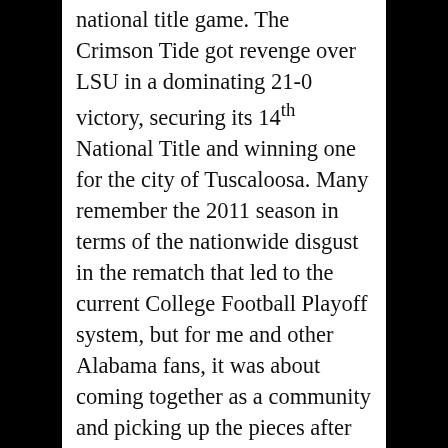national title game. The Crimson Tide got revenge over LSU in a dominating 21-0 victory, securing its 14th National Title and winning one for the city of Tuscaloosa. Many remember the 2011 season in terms of the nationwide disgust in the rematch that led to the current College Football Playoff system, but for me and other Alabama fans, it was about coming together as a community and picking up the pieces after April 27th. Of the four championships I've experienced as an Alabama student and alumnus, 2011 remains by far my favorite for this reason.
The 2012 season followed a similar script to the 2011 season: Dominating wins, punctured by a devastating loss (this time to Johnny Manziel's Texas A&M Aggies), followed by providence